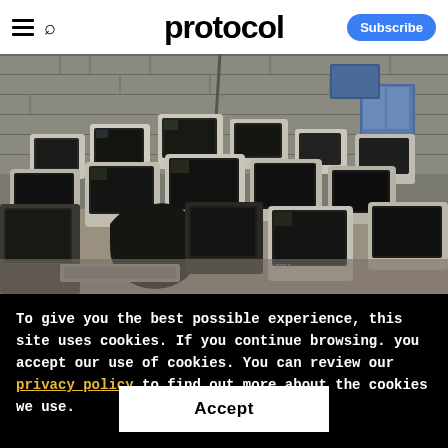protocol — Subscribe
[Figure (photo): A large pile of discarded old CRT monitors, televisions, and other electronic waste stacked in an indoor facility with concrete block walls.]
To give you the best possible experience, this site uses cookies. If you continue browsing. you accept our use of cookies. You can review our privacy policy to find out more about the cookies we use.
Accept